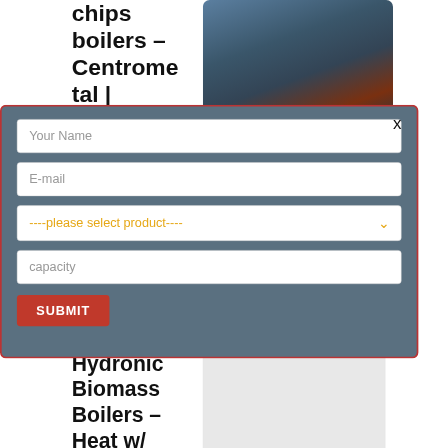chips boilers – Centrometal | HEATING TECHNIQUE
[Figure (photo): Two workers in hard hats and blue uniforms working on industrial equipment]
eating systems BIO- output from 25 to burning wood chips.
ew More
[Figure (screenshot): Modal contact form with fields: Your Name, E-mail, product selector, capacity, and SUBMIT button]
Hydronic Biomass Boilers – Heat w/ Wood
[Figure (photo): Product image placeholder]
TOP